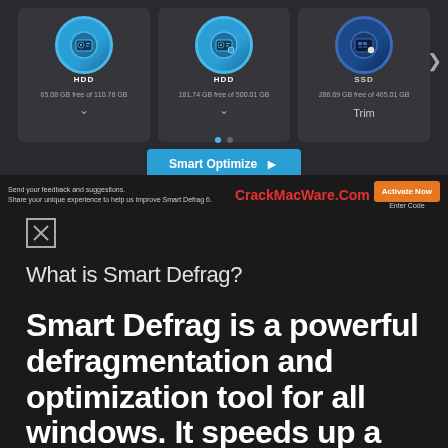[Figure (screenshot): Screenshot of Smart Defrag 6 application interface showing three drive cards (two HDD and one SSD) with storage info, a Smart Optimize button, and an ad banner for CrackMacWare.Com with Activate Now button]
[Figure (logo): Small icon box with X mark (broken image placeholder)]
What is Smart Defrag?
Smart Defrag is a powerful defragmentation and optimization tool for all windows. It speeds up a computer's performance by